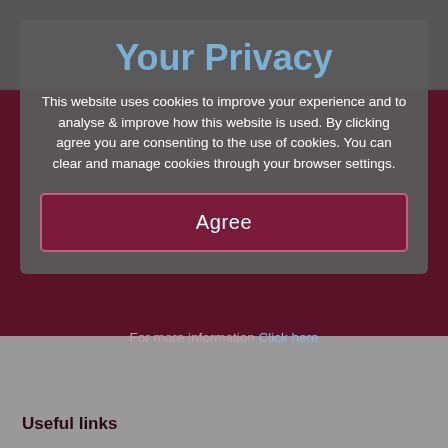Your Privacy
This website uses cookies to improve your experience and to analyse & improve how this website is used. By clicking agree you are consenting to the use of cookies. You can clear and manage cookies through your browser settings.
Agree
For more information Click here
Useful links